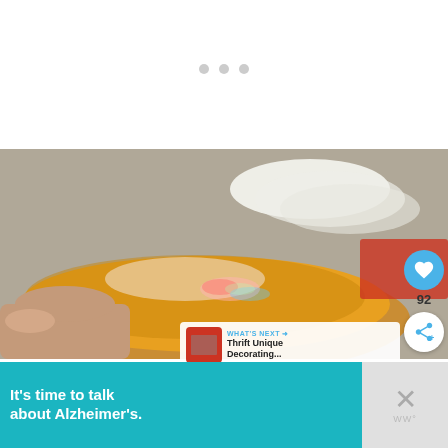[Figure (photo): White blank area at top of webpage with three small gray dots (loading/pagination indicators)]
[Figure (photo): Photo of a hand holding an iridescent glass dish with an orange/gold rim, with plates visible in the background on a gray surface]
WHAT'S NEXT → Thrift Unique Decorating...
[Figure (screenshot): Advertisement banner: It's time to talk about Alzheimer's. LEARN MORE | Alzheimer's Association logo]
92